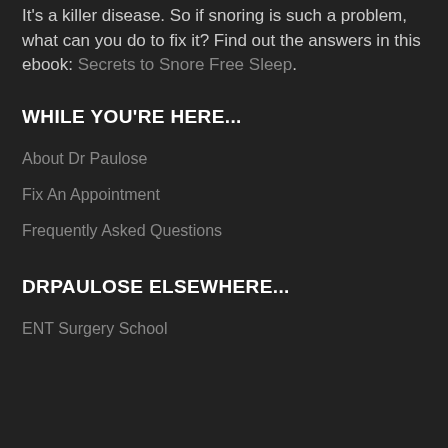It's a killer disease. So if snoring is such a problem, what can you do to fix it? Find out the answers in this ebook: Secrets to Snore Free Sleep.
WHILE YOU'RE HERE...
About Dr Paulose
Fix An Appointment
Frequently Asked Questions
DRPAULOSE ELSEWHERE...
ENT Surgery School